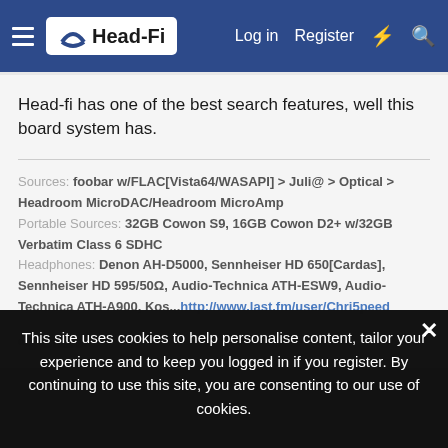Head-Fi | Log in | Register
Head-fi has one of the best search features, well this board system has.
Sources: foobar w/FLAC[Vista64/WASAPI] > Juli@ > Optical > Headroom MicroDAC/Headroom MicroAmp
Portable Sources: 32GB Cowon S9, 16GB Cowon D2+ w/32GB Verbatim Class 6 SDHC
Headphones: Denon AH-D5000, Sennheiser HD 650[Cardas], Sennheiser HD 595/50Ω, Audio-Technica ATH-ESW9, Audio-Technica ATH-A900, Kos...http://www.last.fm/user/Chri5peed
Share
This site uses cookies to help personalise content, tailor your experience and to keep you logged in if you register. By continuing to use this site, you are consenting to our use of cookies.